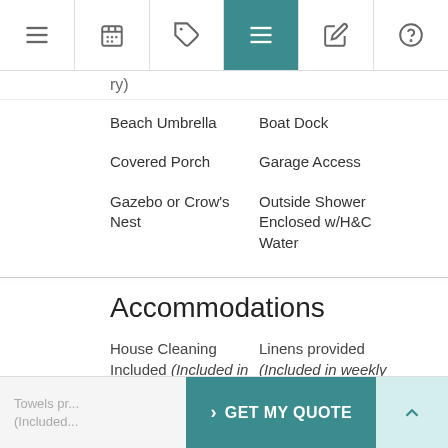Navigation bar with icons: menu, calendar, tag, list (active), edit, help
Beach Umbrella
Boat Dock
Covered Porch
Garage Access
Gazebo or Crow's Nest
Outside Shower Enclosed w/H&C Water
Accommodations
House Cleaning Included (Included in rental rate)
Linens provided (Included in weekly rental rate)
> GET MY QUOTE